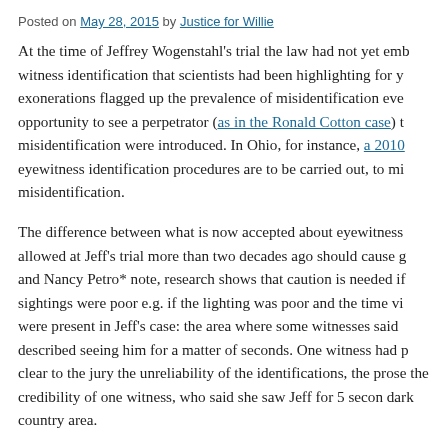Posted on May 28, 2015 by Justice for Willie
At the time of Jeffrey Wogenstahl’s trial the law had not yet emb witness identification that scientists had been highlighting for y exonerations flagged up the prevalence of misidentification eve opportunity to see a perpetrator (as in the Ronald Cotton case) t misidentification were introduced. In Ohio, for instance, a 2010 eyewitness identification procedures are to be carried out, to mi misidentification.
The difference between what is now accepted about eyewitness allowed at Jeff’s trial more than two decades ago should cause g and Nancy Petro* note, research shows that caution is needed if sightings were poor e.g. if the lighting was poor and the time vi were present in Jeff’s case: the area where some witnesses said described seeing him for a matter of seconds. One witness had p clear to the jury the unreliability of the identifications, the prose the credibility of one witness, who said she saw Jeff for 5 secon dark country area.